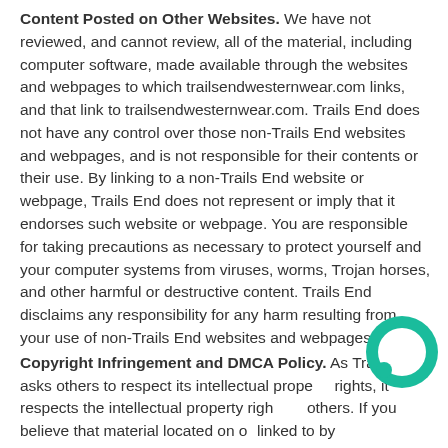Content Posted on Other Websites. We have not reviewed, and cannot review, all of the material, including computer software, made available through the websites and webpages to which trailsendwesternwear.com links, and that link to trailsendwesternwear.com. Trails End does not have any control over those non-Trails End websites and webpages, and is not responsible for their contents or their use. By linking to a non-Trails End website or webpage, Trails End does not represent or imply that it endorses such website or webpage. You are responsible for taking precautions as necessary to protect yourself and your computer systems from viruses, worms, Trojan horses, and other harmful or destructive content. Trails End disclaims any responsibility for any harm resulting from your use of non-Trails End websites and webpages.
Copyright Infringement and DMCA Policy. As Trails End asks others to respect its intellectual property rights, it respects the intellectual property rights of others. If you believe that material located on or linked to by trailsendwesternwear.com violates your copyright, you are encouraged to notify Trails...
[Figure (illustration): Teal/green circular chat bubble icon in the lower right corner of the page]